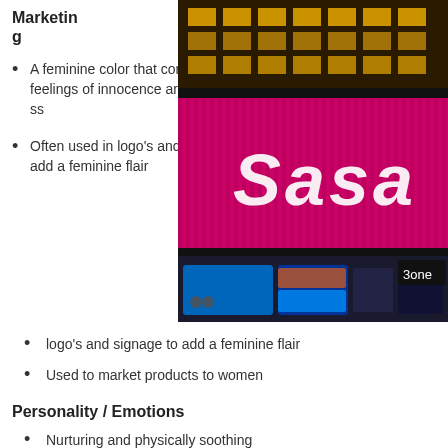Marketing
A feminine color that conjures feelings of innocence and delicateness
[Figure (photo): Night photo of a Sasa (莎莎) cosmetics store front with bright pink/magenta LED signage displaying the Sasa logo, surrounded by colorful advertising signs and yellow-lit building windows above.]
Often used in logo's and signage to add a feminine flair
Used to market products to women
Personality / Emotions
Nurturing and physically soothing
Positive